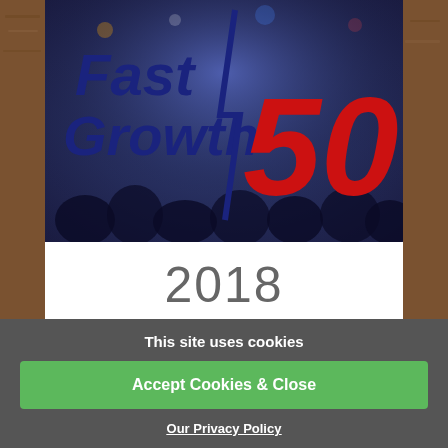[Figure (logo): Fast Growth 50 logo with dark blue italic text and red number 50, lightning bolt graphic, on a blurred crowd background]
2018
Tir Prince Leisure group
Fastest Growing Business in North Wales
This site uses cookies
Accept Cookies & Close
Our Privacy Policy